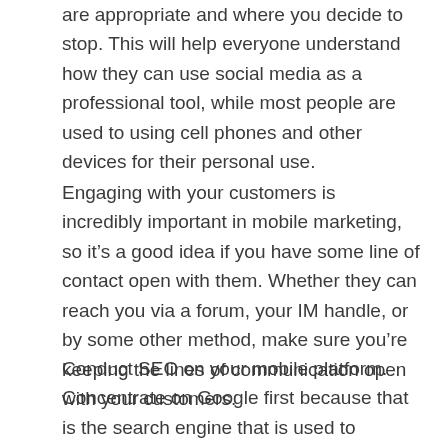are appropriate and where you decide to stop. This will help everyone understand how they can use social media as a professional tool, while most people are used to using cell phones and other devices for their personal use.
Engaging with your customers is incredibly important in mobile marketing, so it’s a good idea if you have some line of contact open with them. Whether they can reach you via a forum, your IM handle, or by some other method, make sure you’re keeping the lines of communication open with your customers.
Conduct SEO on your mobile platform. Concentrate on Google first because that is the search engine that is used to perform the majority of mobile searches. Also work on location-based web pages since search results vary based on where a user is located. Start by performing SEO on terms related to your brand, and branch out from there.